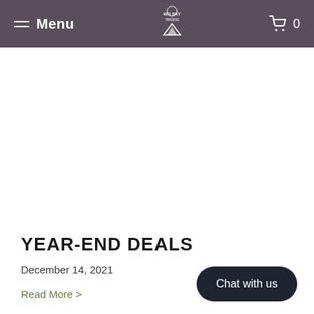Menu  [Big Sky logo]  0
YEAR-END DEALS
December 14, 2021
Read More >
Chat with us